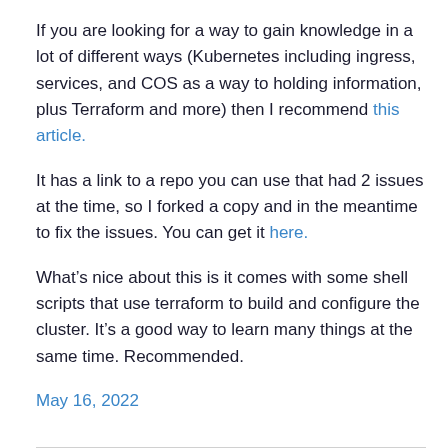If you are looking for a way to gain knowledge in a lot of different ways (Kubernetes including ingress, services, and COS as a way to holding information, plus Terraform and more) then I recommend this article.
It has a link to a repo you can use that had 2 issues at the time, so I forked a copy and in the meantime to fix the issues. You can get it here.
What’s nice about this is it comes with some shell scripts that use terraform to build and configure the cluster. It’s a good way to learn many things at the same time. Recommended.
May 16, 2022